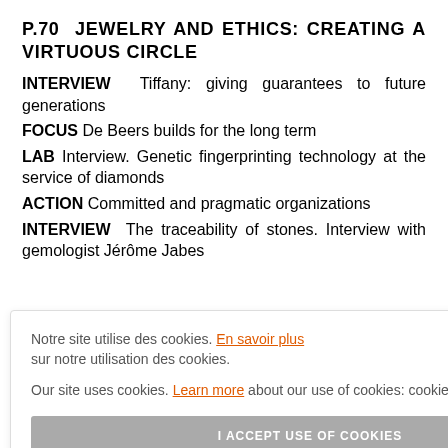P.70 JEWELRY AND ETHICS: CREATING A VIRTUOUS CIRCLE
INTERVIEW Tiffany: giving guarantees to future generations
FOCUS De Beers builds for the long term
LAB Interview. Genetic fingerprinting technology at the service of diamonds
ACTION Committed and pragmatic organizations
INTERVIEW The traceability of stones. Interview with gemologist Jérôme Jabes
Notre site utilise des cookies. En savoir plus sur notre utilisation des cookies. Our site uses cookies. Learn more about our use of cookies: cookie policy. I ACCEPT USE OF COOKIES
Meeting with Katerina Perez, jewelry specialist